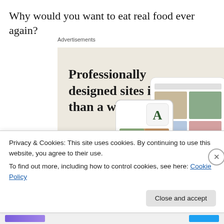Why would you want to eat real food ever again?
[Figure (screenshot): WordPress.com advertisement with beige background. Headline: 'Professionally designed sites in less than a week'. Green 'Explore options' button. Right side shows tablet/phone mockups with food website designs. WordPress logo at bottom left.]
Privacy & Cookies: This site uses cookies. By continuing to use this website, you agree to their use.
To find out more, including how to control cookies, see here: Cookie Policy